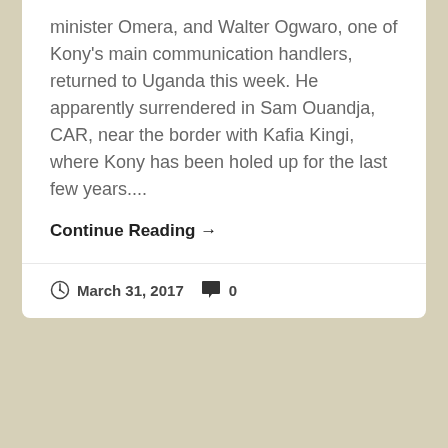minister Omera, and Walter Ogwaro, one of Kony's main communication handlers, returned to Uganda this week. He apparently surrendered in Sam Ouandja, CAR, near the border with Kafia Kingi, where Kony has been holed up for the last few years....
Continue Reading →
March 31, 2017   0
Great article on how to talk about rebels
Jamie Hitchen wrote this fascinating article for Africa is a Country on the general discourse relating to rebel